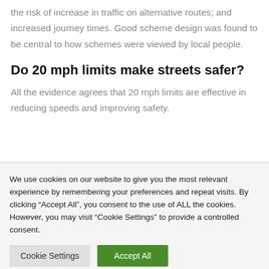the risk of increase in traffic on alternative routes; and increased journey times. Good scheme design was found to be central to how schemes were viewed by local people.
Do 20 mph limits make streets safer?
All the evidence agrees that 20 mph limits are effective in reducing speeds and improving safety.
We use cookies on our website to give you the most relevant experience by remembering your preferences and repeat visits. By clicking “Accept All”, you consent to the use of ALL the cookies. However, you may visit "Cookie Settings" to provide a controlled consent.